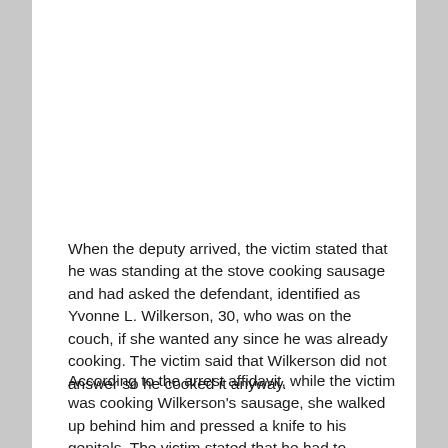When the deputy arrived, the victim stated that he was standing at the stove cooking sausage and had asked the defendant, identified as Yvonne L. Wilkerson, 30, who was on the couch, if she wanted any since he was already cooking. The victim said that Wilkerson did not answer so he cooked it anyway.
According to the arrest affidavit, while the victim was cooking Wilkerson's sausage, she walked up behind him and pressed a knife to his genitals. The victim stated that he had to reposition himself due to the pressure she had applied with the knife.